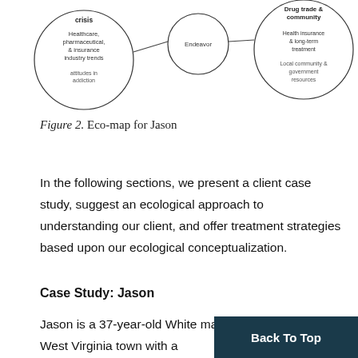[Figure (other): Partial eco-map diagram showing circles with text labels: 'crisis', 'Healthcare, pharmaceutical, & insurance industry trends', 'attitudes in addiction', 'Endeavor', 'Drug trade & community', 'Health insurance & long-term treatment', 'Local community & government resources'. Circles are connected by lines.]
Figure 2. Eco-map for Jason
In the following sections, we present a client case study, suggest an ecological approach to understanding our client, and offer treatment strategies based upon our ecological conceptualization.
Case Study: Jason
Jason is a 37-year-old White male wh… southwest West Virginia town with a